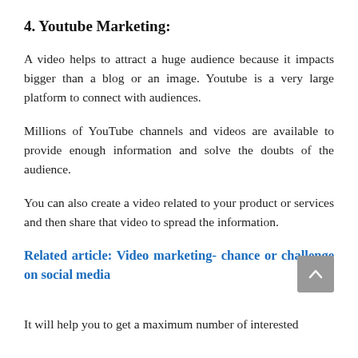4. Youtube Marketing:
A video helps to attract a huge audience because it impacts bigger than a blog or an image. Youtube is a very large platform to connect with audiences.
Millions of YouTube channels and videos are available to provide enough information and solve the doubts of the audience.
You can also create a video related to your product or services and then share that video to spread the information.
Related article: Video marketing- chance or challenge on social media
It will help you to get a maximum number of interested